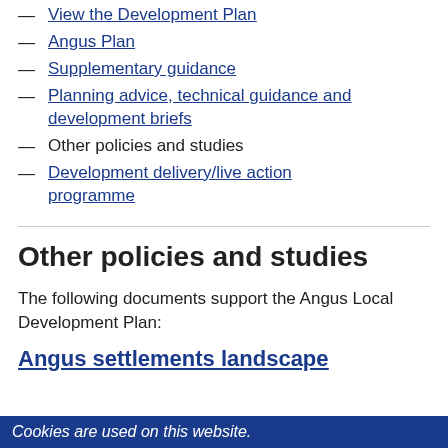View the Development Plan
Angus Plan
Supplementary guidance
Planning advice, technical guidance and development briefs
Other policies and studies
Development delivery/live action programme
Other policies and studies
The following documents support the Angus Local Development Plan:
Angus settlements landscape
Cookies are used on this website.